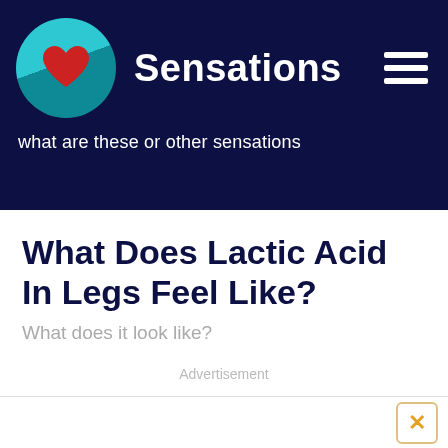Sensations — what are these or other sensations
What Does Lactic Acid In Legs Feel Like?
What does it look like?
Advertisement